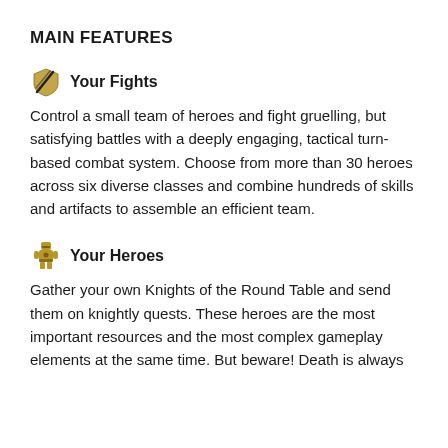MAIN FEATURES
Your Fights
Control a small team of heroes and fight gruelling, but satisfying battles with a deeply engaging, tactical turn-based combat system. Choose from more than 30 heroes across six diverse classes and combine hundreds of skills and artifacts to assemble an efficient team.
Your Heroes
Gather your own Knights of the Round Table and send them on knightly quests. These heroes are the most important resources and the most complex gameplay elements at the same time. But beware! Death is always